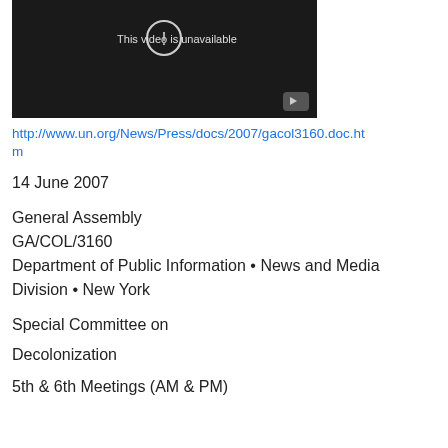[Figure (screenshot): Embedded video player showing 'This video is unavailable' message with a play button icon in the bottom right corner, dark background.]
http://www.un.org/News/Press/docs/2007/gacol3160.doc.htm
14 June 2007
General Assembly
GA/COL/3160
Department of Public Information • News and Media Division • New York
Special Committee on
Decolonization
5th & 6th Meetings (AM & PM)